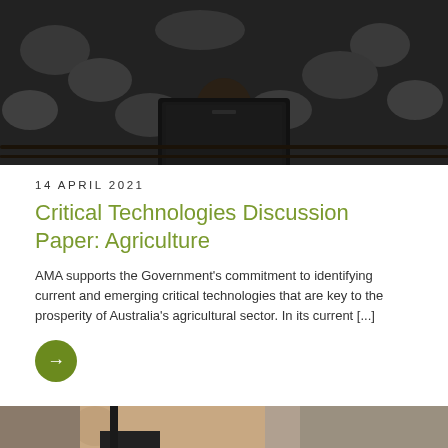[Figure (photo): Person using a laptop in a livestock facility with sheep/cattle visible in the background]
14 APRIL 2021
Critical Technologies Discussion Paper: Agriculture
AMA supports the Government's commitment to identifying current and emerging critical technologies that are key to the prosperity of Australia's agricultural sector. In its current [...]
[Figure (illustration): Green circular arrow button linking to article]
[Figure (photo): Partial photo visible at bottom of page — appears to be a person's face/ear area]